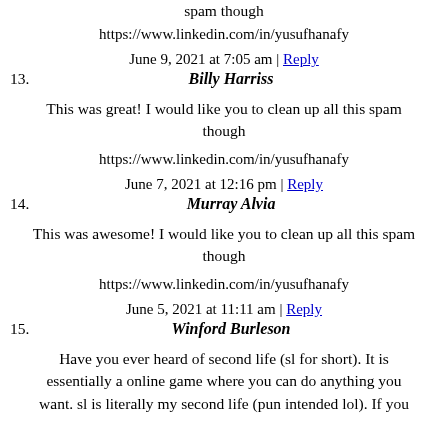spam though
https://www.linkedin.com/in/yusufhanafy
June 9, 2021 at 7:05 am | Reply
13. Billy Harriss
This was great! I would like you to clean up all this spam though
https://www.linkedin.com/in/yusufhanafy
June 7, 2021 at 12:16 pm | Reply
14. Murray Alvia
This was awesome! I would like you to clean up all this spam though
https://www.linkedin.com/in/yusufhanafy
June 5, 2021 at 11:11 am | Reply
15. Winford Burleson
Have you ever heard of second life (sl for short). It is essentially a online game where you can do anything you want. sl is literally my second life (pun intended lol). If you